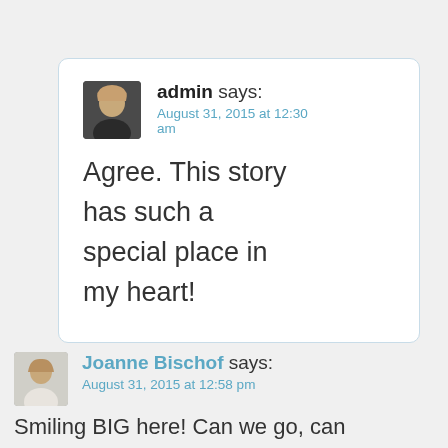admin says: August 31, 2015 at 12:30 am
Agree. This story has such a special place in my heart!
Joanne Bischof says: August 31, 2015 at 12:58 pm
Smiling BIG here! Can we go, can